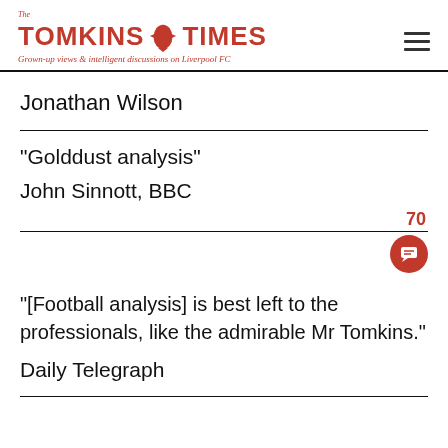The Tomkins Times - Grown-up views & intelligent discussions on Liverpool FC
Jonathan Wilson
“Golddust analysis”
John Sinnott, BBC
“[Football analysis] is best left to the professionals, like the admirable Mr Tomkins.”
Daily Telegraph